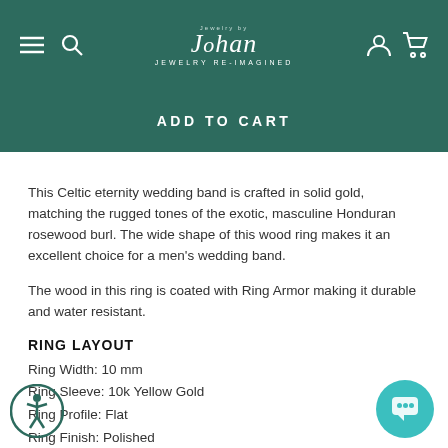Jewelry by Johan — JEWELRY RE-IMAGINED
ADD TO CART
This Celtic eternity wedding band is crafted in solid gold, matching the rugged tones of the exotic, masculine Honduran rosewood burl. The wide shape of this wood ring makes it an excellent choice for a men's wedding band.
The wood in this ring is coated with Ring Armor making it durable and water resistant.
RING LAYOUT
Ring Width: 10 mm
Ring Sleeve: 10k Yellow Gold
Ring Profile: Flat
Ring Finish: Polished